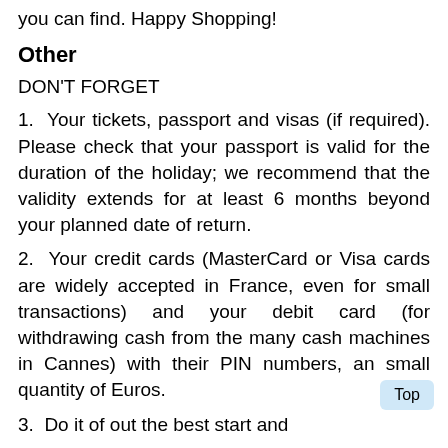you can find. Happy Shopping!
Other
DON'T FORGET
1.  Your tickets, passport and visas (if required). Please check that your passport is valid for the duration of the holiday; we recommend that the validity extends for at least 6 months beyond your planned date of return.
2.  Your credit cards (MasterCard or Visa cards are widely accepted in France, even for small transactions) and your debit card (for withdrawing cash from the many cash machines in Cannes) with their PIN numbers, an small quantity of Euros.
3.  Do it of out the best start and